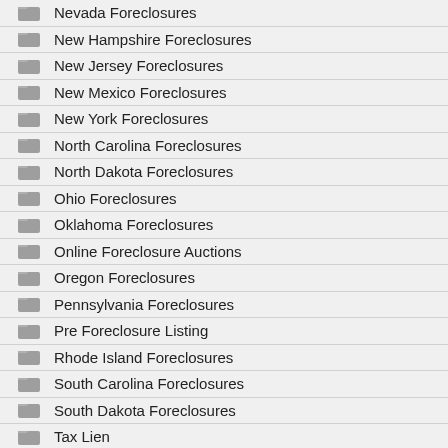Nevada Foreclosures
New Hampshire Foreclosures
New Jersey Foreclosures
New Mexico Foreclosures
New York Foreclosures
North Carolina Foreclosures
North Dakota Foreclosures
Ohio Foreclosures
Oklahoma Foreclosures
Online Foreclosure Auctions
Oregon Foreclosures
Pennsylvania Foreclosures
Pre Foreclosure Listing
Rhode Island Foreclosures
South Carolina Foreclosures
South Dakota Foreclosures
Tax Lien
Tennessee Foreclosures
Texas Foreclosures
UK Foreclosures